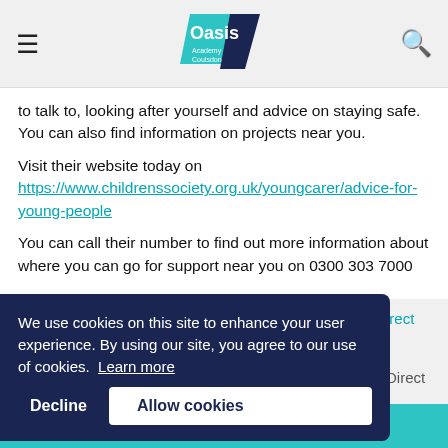Oasis Academy — navigation header with logo
to talk to, looking after yourself and advice on staying safe. You can also find information on projects near you.
Visit their website today on https://www.childrenssociety.org.uk/youngcarer/advice-for-young-people
You can call their number to find out more information about where you can go for support near you on 0300 303 7000
We use cookies on this site to enhance your user experience. By using our site, you agree to our use of cookies. Learn more
◄ EXPLORE Oasis